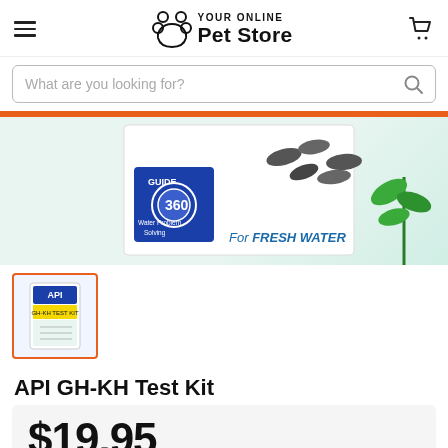YOUR ONLINE Pet Store
What are you looking for?
[Figure (photo): Product image of API GH-KH Test Kit box showing freshwater fish and plants with a blue Guide label for Water Problem Solving]
[Figure (photo): Thumbnail image of API GH-KH Test Kit product packaging]
API GH-KH Test Kit
$19.95
or 4 interest free payments of $4.99 with afterpay